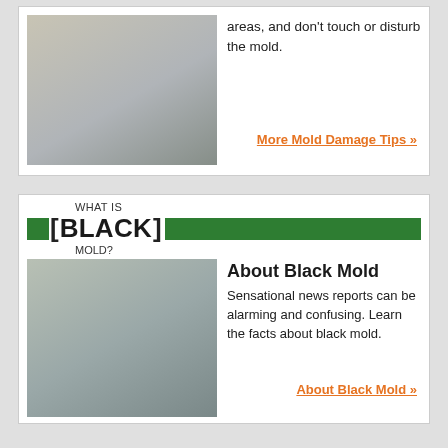[Figure (photo): Two people standing in a home interior, one holding a green hard hat]
areas, and don't touch or disturb the mold.
More Mold Damage Tips »
WHAT IS [BLACK] MOLD?
[Figure (photo): A SERVPRO technician showing a tablet to a homeowner inside a home]
About Black Mold
Sensational news reports can be alarming and confusing. Learn the facts about black mold.
About Black Mold »